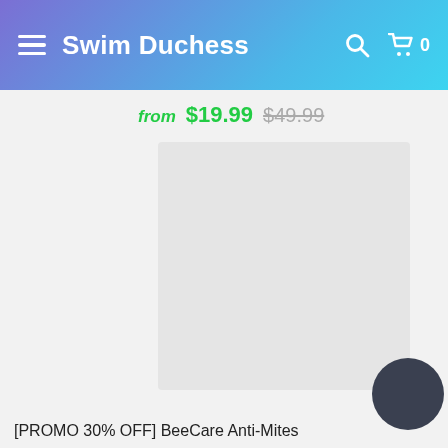Swim Duchess
from $19.99 $49.99
[Figure (photo): Product image placeholder — light gray square product image area with a green Sale badge circle in the upper right corner]
[PROMO 30% OFF] BeeCare Anti-Mites